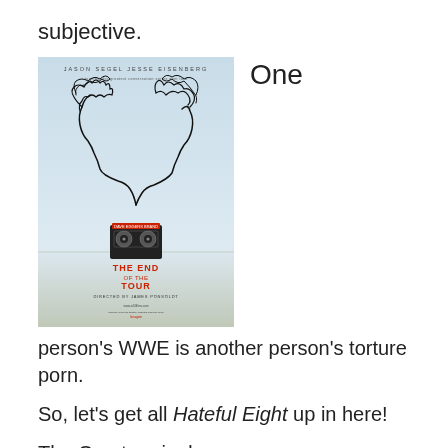subjective.
[Figure (photo): Movie poster for 'The End of the Tour' featuring two line-drawn faces facing each other, connected by cassette tape. Text at top: JASON SEGEL JESSE EISENBERG. Red text at bottom: THE END OF THE TOUR DIRECTED BY JAMES PONSOLDT.]
One
person's WWE is another person's torture porn.
So, let's get all Hateful Eight up in here!
The Overture is done.